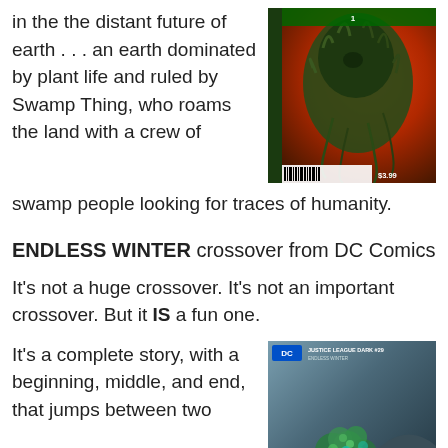in the the distant future of earth . . . an earth dominated by plant life and ruled by Swamp Thing, who roams the land with a crew of swamp people looking for traces of humanity.
[Figure (illustration): Comic book cover featuring a dark green mossy creature (Swamp Thing) against an orange-red background, issue #1 with barcode and $3.99 price]
ENDLESS WINTER crossover from DC Comics
It’s not a huge crossover. It’s not an important crossover. But it IS a fun one.
It’s a complete story, with a beginning, middle, and end, that jumps between two
[Figure (illustration): DC Justice League Dark #29 comic cover showing plants and flowers on rocky terrain in blue-grey tones]